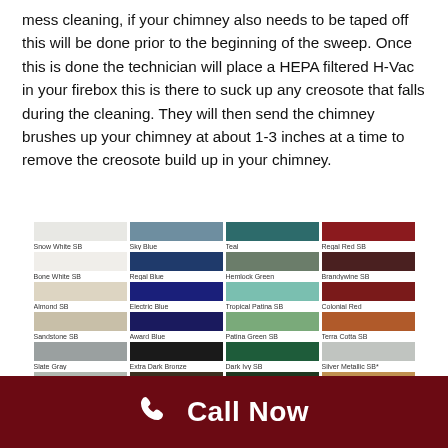mess cleaning, if your chimney also needs to be taped off this will be done prior to the beginning of the sweep. Once this is done the technician will place a HEPA filtered H-Vac in your firebox this is there to suck up any creosote that falls during the cleaning. They will then send the chimney brushes up your chimney at about 1-3 inches at a time to remove the creosote build up in your chimney.
[Figure (other): Color swatch chart showing various paint/coating color options arranged in a 4-column grid. Colors include Snow White SB, Sky Blue, Teal, Regal Red SB, Bone White SB, Regal Blue, Hemlock Green, Brandywine SB, Almond SB, Electric Blue, Tropical Patina SB, Colonial Red, Sandstone SB, Award Blue, Patina Green SB, Terra Cotta SB, Slate Gray, Extra Dark Bronze, Dark Ivy SB, Silver Metallic SB*, Cityscape SB, Dark Bronze, Sherwood Green, Classic Copper SB*, and more partially visible at bottom.]
Call Now